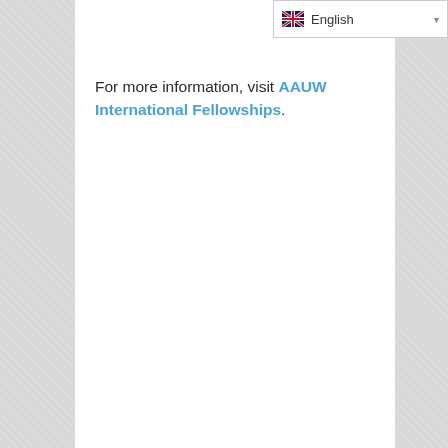[Figure (other): Language selector dropdown showing English with UK flag icon]
For more information, visit AAUW International Fellowships.